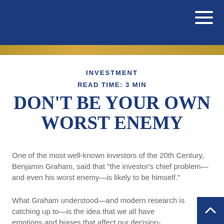INVESTMENT
READ TIME: 3 MIN
DON'T BE YOUR OWN WORST ENEMY
One of the most well-known investors of the 20th Century, Benjamin Graham, said that "the investor's chief problem—and even his worst enemy—is likely to be himself."
What Graham understood—and modern research is catching up to—is the idea that we all have emotions and biases that affect our decision-making. The innate wiring